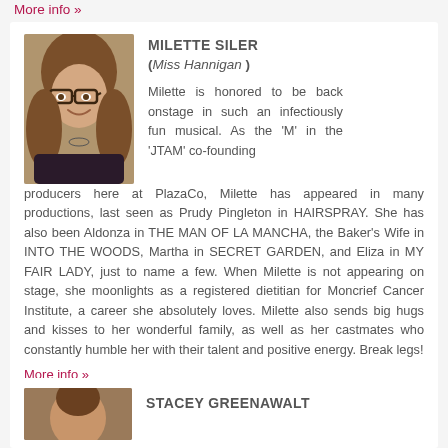More info »
[Figure (photo): Headshot of Milette Siler, a woman with brown hair and glasses, smiling]
MILETTE SILER
(Miss Hannigan )
Milette is honored to be back onstage in such an infectiously fun musical. As the 'M' in the 'JTAM' co-founding producers here at PlazaCo, Milette has appeared in many productions, last seen as Prudy Pingleton in HAIRSPRAY. She has also been Aldonza in THE MAN OF LA MANCHA, the Baker's Wife in INTO THE WOODS, Martha in SECRET GARDEN, and Eliza in MY FAIR LADY, just to name a few. When Milette is not appearing on stage, she moonlights as a registered dietitian for Moncrief Cancer Institute, a career she absolutely loves. Milette also sends big hugs and kisses to her wonderful family, as well as her castmates who constantly humble her with their talent and positive energy. Break legs!
More info »
[Figure (photo): Partial headshot of Stacey Greenawalt]
STACEY GREENAWALT